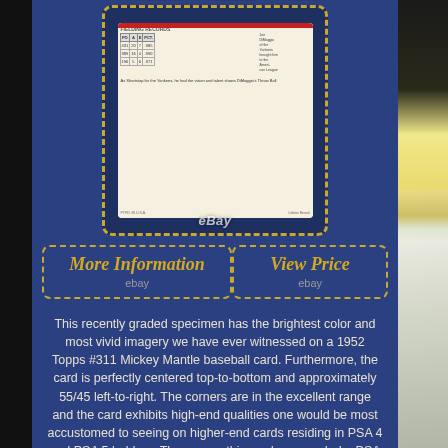[Figure (photo): PSA graded 1952 Topps #311 Mickey Mantle baseball card shown in protective case, card back visible with fielding records table and text, displayed against blue background with dashed gold border]
More Information
ebay
View Price
ebay
This recently graded specimen has the brightest color and most vivid imagery we have ever witnessed on a 1952 Topps #311 Mickey Mantle baseball card. Furthermore, the card is perfectly centered top-to-bottom and approximately 55/45 left-to-right. The corners are in the excellent range and the card exhibits high-end qualities one would be most accustomed to seeing on higher-end cards residing in PSA 4 and PSA 5 holders. The reason this card was graded a PSA 1.5 is due to some staining on both sides as well as a very light one-inch wrinkle in the middle text section along the left edge on the back of the card. The wrinkle does not break the surface and can only be seen